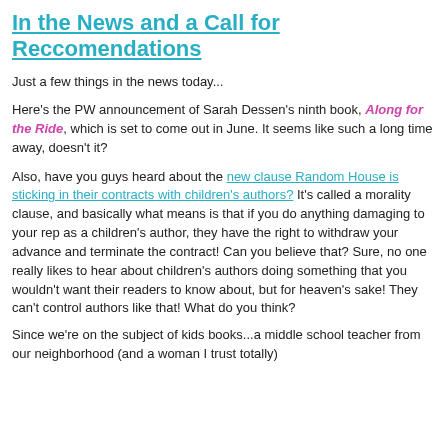In the News and a Call for Reccomendations
Just a few things in the news today...
Here's the PW announcement of Sarah Dessen's ninth book, Along for the Ride, which is set to come out in June. It seems like such a long time away, doesn't it?
Also, have you guys heard about the new clause Random House is sticking in their contracts with children's authors? It's called a morality clause, and basically what means is that if you do anything damaging to your rep as a children's author, they have the right to withdraw your advance and terminate the contract! Can you believe that? Sure, no one really likes to hear about children's authors doing something that you wouldn't want their readers to know about, but for heaven's sake! They can't control authors like that! What do you think?
Since we're on the subject of kids books...a middle school teacher from our neighborhood (and a woman I trust totally)